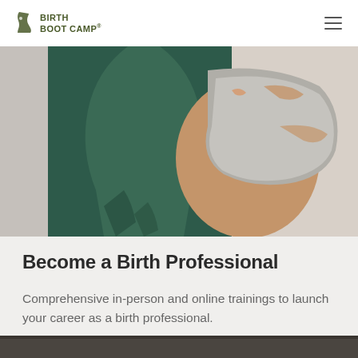Birth Boot Camp
[Figure (photo): Close-up photo of a pregnant woman's belly and torso, wearing a dark teal top, cradling her pregnant belly with her hands. The background is light/white.]
Become a Birth Professional
Comprehensive in-person and online trainings to launch your career as a birth professional.
[Figure (photo): Partial view of another photo at the bottom of the page, appears to show a dark/grey background scene.]